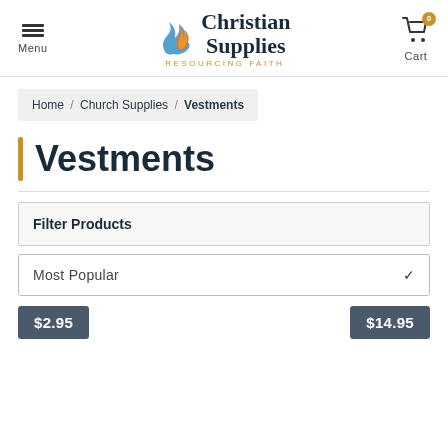Menu | Christian Supplies – Resourcing Faith | Cart (0)
Home / Church Supplies / Vestments
Vestments
Filter Products
Most Popular
$2.95
$14.95